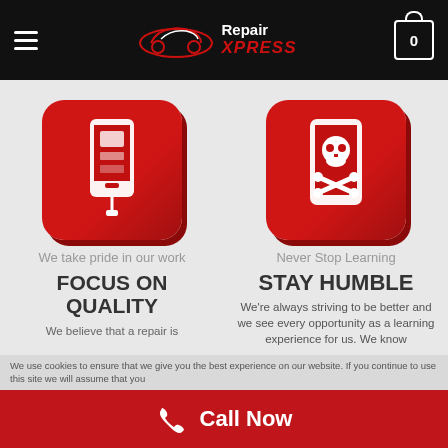Repair XPRESS
[Figure (illustration): Red rounded square icon with white phone/battery icon on left column]
[Figure (illustration): Red rounded square icon with white skull and crossbones on phone on right column]
We take pride in our work
FOCUS ON QUALITY
We believe that a repair is
Never Stop Learning
STAY HUMBLE
We're always striving to be better and we see every opportunity as a learning experience for us. We know
Call Now